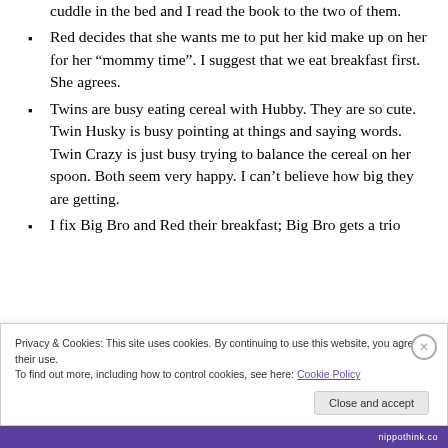cuddle in the bed and I read the book to the two of them.
Red decides that she wants me to put her kid make up on her for her “mommy time”. I suggest that we eat breakfast first. She agrees.
Twins are busy eating cereal with Hubby. They are so cute. Twin Husky is busy pointing at things and saying words. Twin Crazy is just busy trying to balance the cereal on her spoon. Both seem very happy. I can’t believe how big they are getting.
I fix Big Bro and Red their breakfast; Big Bro gets a trio
Privacy & Cookies: This site uses cookies. By continuing to use this website, you agree to their use. To find out more, including how to control cookies, see here: Cookie Policy
nippothink.co